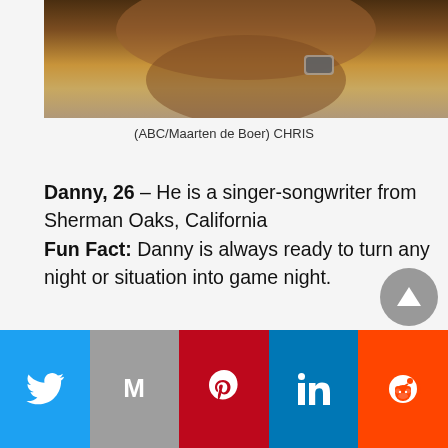[Figure (photo): Partial photo of a man's torso and arm wearing a beige/tan sweater and a watch, arms crossed, bottom portion visible at top of page]
(ABC/Maarten de Boer) CHRIS
Danny, 26 – He is a singer-songwriter from Sherman Oaks, California
Fun Fact: Danny is always ready to turn any night or situation into game night.
[Figure (photo): Photo of a young smiling man with dark styled hair wearing a denim jacket with hoodie, light grey background, partial view from shoulders up]
[Figure (other): Social media share bar with buttons for Twitter, Gmail/Email, Pinterest, LinkedIn, and Reddit]